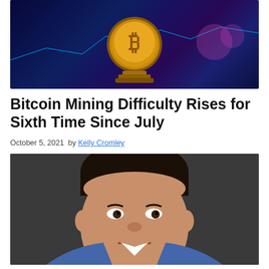[Figure (photo): Bitcoin gold coin on a stand with colorful trading chart background]
Bitcoin Mining Difficulty Rises for Sixth Time Since July
October 5, 2021  by Kelly Cromley
[Figure (photo): Portrait photo of Tron CEO Justin Sun smiling, wearing a blue suit]
Tron CEO Justin Sun Accused of Manipulating Twitter Follower Count
September 5, 2019  by Kelly Cromley